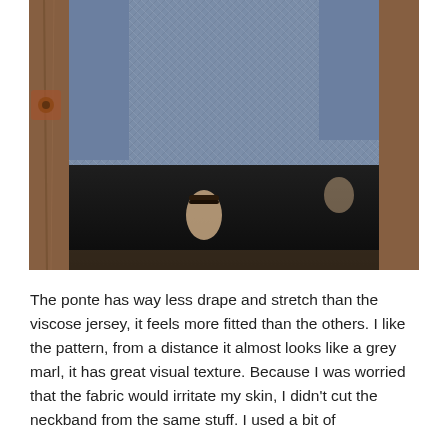[Figure (photo): A person wearing a grey marl patterned long-sleeve ponte sweater and black trousers, standing in front of a weathered wooden wall/door. The photo is cropped to show the torso and hands.]
The ponte has way less drape and stretch than the viscose jersey, it feels more fitted than the others.  I like the pattern, from a distance it almost looks like a grey marl, it has great visual texture.  Because I was worried that the fabric would irritate my skin, I didn't cut the neckband from the same stuff.  I used a bit of